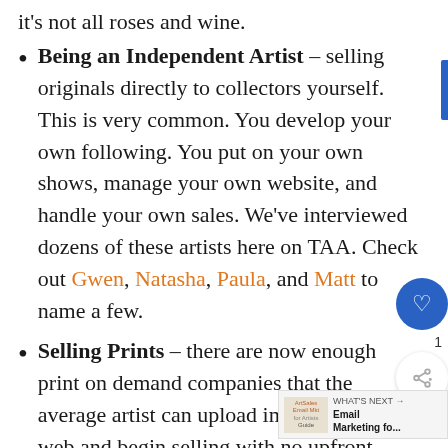it's not all roses and wine.
Being an Independent Artist – selling originals directly to collectors yourself. This is very common. You develop your own following. You put on your own shows, manage your own website, and handle your own sales. We've interviewed dozens of these artists here on TAA. Check out Gwen, Natasha, Paula, and Matt to name a few.
Selling Prints – there are now enough print on demand companies that the average artist can upload images to the web and begin selling with no upfront investment in printers, paper, ink, etc. Fine Art America, Society6, Imagekind, Art.com, and several others. In addition to selling fine art prints, there are